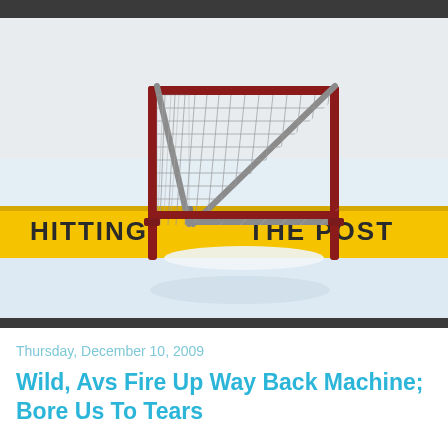[Figure (photo): Hockey goal net on ice rink with yellow boards reading 'HITTING THE POST' in black letters. The net has a red frame with mesh netting, set on white ice. A blog header image for 'Hitting The Post'.]
Thursday, December 10, 2009
Wild, Avs Fire Up Way Back Machine; Bore Us To Tears